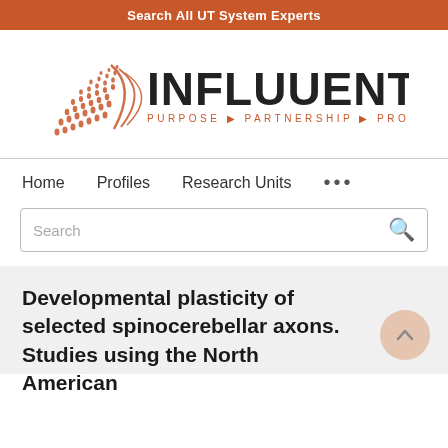Search All UT System Experts
[Figure (logo): Influuent logo with orange angular graphic and text reading INFLUUENT PURPOSE PARTNERSHIP PROGRESS]
Home   Profiles   Research Units   ...
Search
Developmental plasticity of selected spinocerebellar axons. Studies using the North American